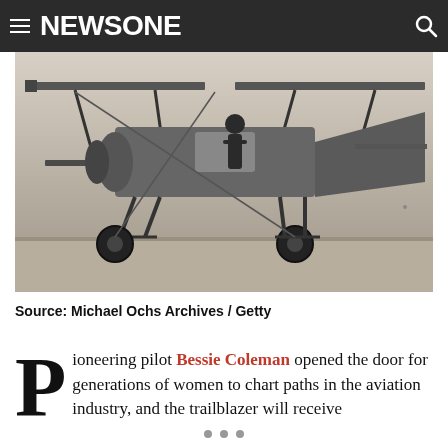NEWSONE
[Figure (photo): Black and white photograph of an early biplane aircraft, showing the undercarriage, wheels, wings and struts. A person is visible near the aircraft. Historical aviation photograph.]
Source: Michael Ochs Archives / Getty
Pioneering pilot Bessie Coleman opened the door for generations of women to chart paths in the aviation industry, and the trailblazer will receive